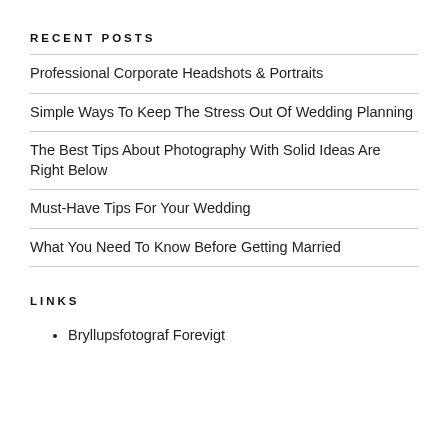RECENT POSTS
Professional Corporate Headshots & Portraits
Simple Ways To Keep The Stress Out Of Wedding Planning
The Best Tips About Photography With Solid Ideas Are Right Below
Must-Have Tips For Your Wedding
What You Need To Know Before Getting Married
LINKS
Bryllupsfotograf Forevigt